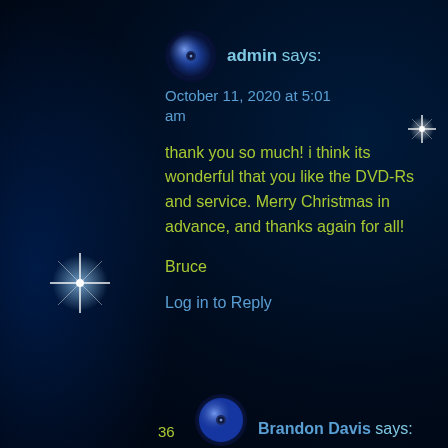admin says:
October 11, 2020 at 5:01 am
thank you so much! i think its wonderful that you like the DVD-Rs and service. Merry Christmas in advance, and thanks again for all!
Bruce
Log in to Reply
Brandon Davis says: